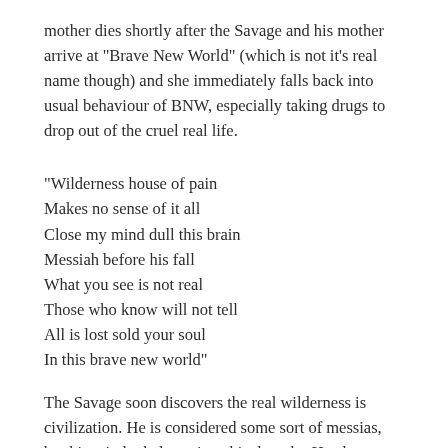mother dies shortly after the Savage and his mother arrive at "Brave New World" (which is not it's real name though) and she immediately falls back into usual behaviour of BNW, especially taking drugs to drop out of the cruel real life.
"Wilderness house of pain
Makes no sense of it all
Close my mind dull this brain
Messiah before his fall
What you see is not real
Those who know will not tell
All is lost sold your soul
In this brave new world"
The Savage soon discovers the real wilderness is civilization. He is considered some sort of messias, but his mind rebels against this thought. He also gets the impression that there is some sort of elite east ruling the world by saying the truth about it's